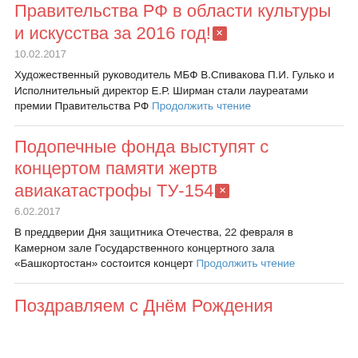Правительства РФ в области культуры и искусства за 2016 год!🔇
10.02.2017
Художественный руководитель МБФ В.Спивакова П.И. Гулько и Исполнительный директор Е.Р. Ширман стали лауреатами премии Правительства РФ Продолжить чтение
Подопечные фонда выступят с концертом памяти жертв авиакатастрофы ТУ-154🔇
6.02.2017
В преддверии Дня защитника Отечества, 22 февраля в Камерном зале Государственного концертного зала «Башкортостан» состоится концерт Продолжить чтение
Поздравляем с Днём Рождения